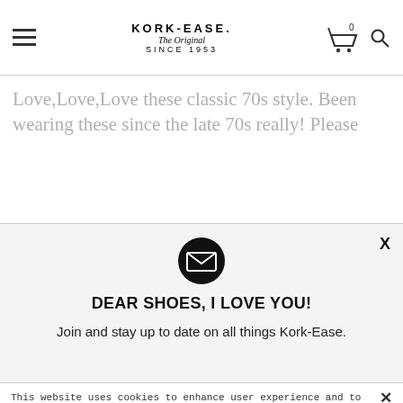KORK-EASE. The Original SINCE 1953
Love,Love,Love these classic 70s style. Been wearing these since the late 70s really! Please
[Figure (illustration): Black circular envelope/email icon]
DEAR SHOES, I LOVE YOU!
Join and stay up to date on all things Kork-Ease.
This website uses cookies to enhance user experience and to analyze performance and traffic on our website. We also share information about your use of our site with our social media, advertising and analytics partners.
View Cookie Settings
Accept Cookies